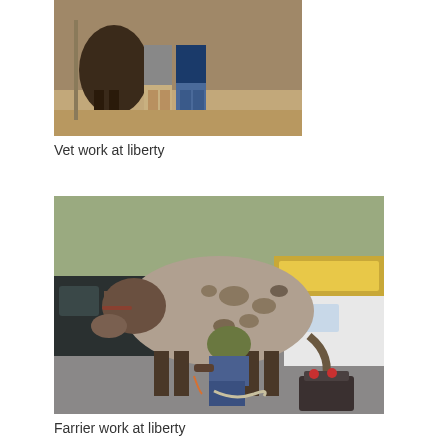[Figure (photo): Two people standing next to a dark-colored horse or mule outdoors on sandy ground with trees in background. A vet visit scene.]
Vet work at liberty
[Figure (photo): A speckled appaloosa mule standing in a parking lot while a farrier bends down working on its hoof. Trucks and a bus are visible in the background. A farrier's toolbox sits nearby.]
Farrier work at liberty